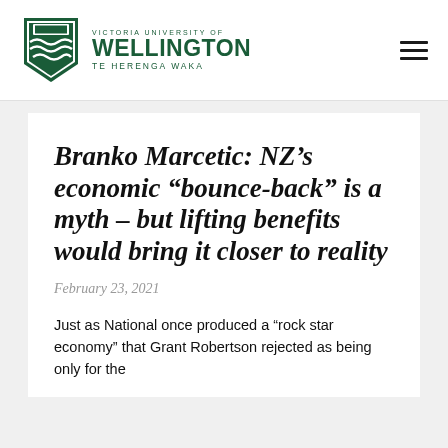[Figure (logo): Victoria University of Wellington Te Herenga Waka logo with green shield crest and university name]
Branko Marcetic: NZ’s economic “bounce-back” is a myth – but lifting benefits would bring it closer to reality
February 23, 2021
Just as National once produced a “rock star economy” that Grant Robertson rejected as being only for the